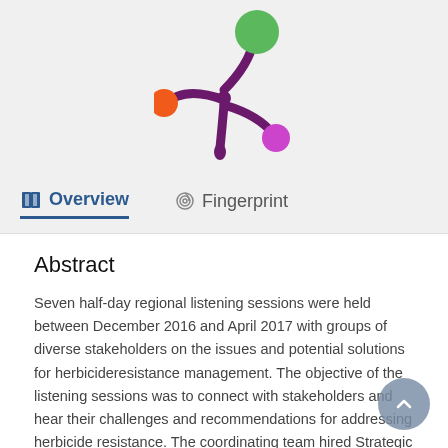[Figure (logo): Colorful splat logo with orange, green, and purple circles on a grey background]
Overview   Fingerprint
Abstract
Seven half-day regional listening sessions were held between December 2016 and April 2017 with groups of diverse stakeholders on the issues and potential solutions for herbicideresistance management. The objective of the listening sessions was to connect with stakeholders and hear their challenges and recommendations for addressing herbicide resistance. The coordinating team hired Strategic Conservation Solutions, LLC, to facilitate all the sessions. They and the coordinating team used in-person meetings, teleconferences, and email to communicate and coordinate the activities leading up